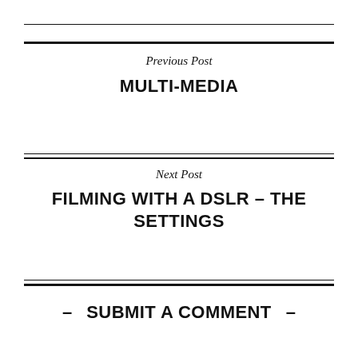Previous Post
MULTI-MEDIA
Next Post
FILMING WITH A DSLR – THE SETTINGS
– SUBMIT A COMMENT –